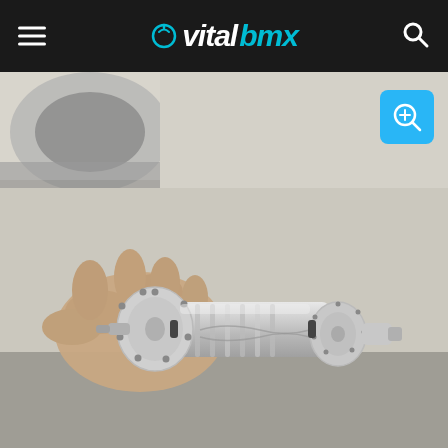vitalbmx
[Figure (photo): A hand holding a polished chrome BMX rear hub (bicycle wheel hub) horizontally. The hub features decorative engraving and machined flanges with spoke holes. Background shows a light-colored countertop and a sink.]